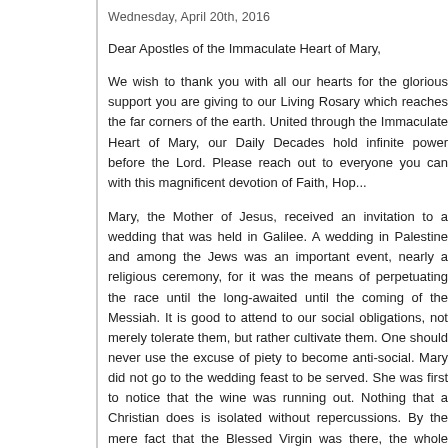Wednesday, April 20th, 2016
Dear Apostles of the Immaculate Heart of Mary,
We wish to thank you with all our hearts for the glorious support you are giving to our Living Rosary which reaches the far corners of the earth. United through the Immaculate Heart of Mary, our Daily Decades hold infinite power before the Lord. Please reach out to everyone you can with this magnificent devotion of Faith, Hop...
Mary, the Mother of Jesus, received an invitation to a wedding that was held in Galilee. A wedding in Palestine and among the Jews was an important event, nearly a religious ceremony, for it was the means of perpetuating the race until the long-awaited until the coming of the Messiah. It is good to attend to our social obligations, not merely tolerate them, but rather cultivate them. One should never use the excuse of piety to become anti-social. Mary did not go to the wedding feast to be served. She was first to notice that the wine was running out. Nothing that a Christian does is isolated without repercussions. By the mere fact that the Blessed Virgin was there, the whole atmosphere changed. Jesus and His disciples were invited.
Charity obliges us to be our best. The more we are on fire ourselves, the more we kindle the same fire in others. The closer and more united we are to God, the more we can help those around us. Sometimes, only a smile is needed or a little interest shown in a friendly manner. We exercise our love for God in how we treat our neighbor. Christ must be at the center of society, so that His Spirit may permeate all human activities, transforming and lifting them. We must be like red-hot irons; otherwise instead of influencing the world it will overpower us, change us as it likes and make us slaves of worldliness.
In a phrase of only a few words, Mary made known to Christ the need of...